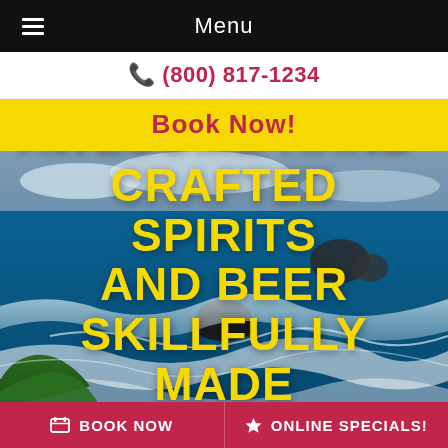Menu
(800) 817-1234
Book Now!
[Figure (photo): Aerial coastal ocean view with rocky shoreline and crashing waves in Maui, Hawaii]
AWESOME HAND-CRAFTED SPIRITS AND BEER SKILLFULLY MADE IN MAUI
BOOK NOW   ONLINE SPECIALS!